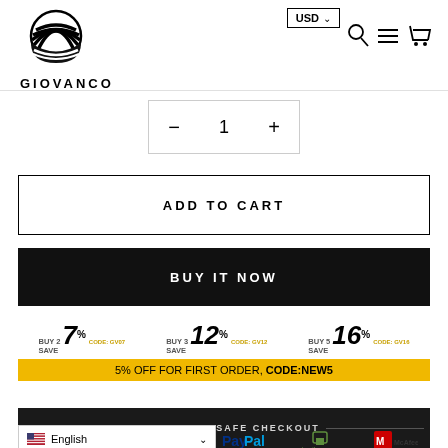[Figure (logo): Giovanco logo with stylized circular striped graphic above the text GIOVANCO]
[Figure (screenshot): Navigation icons: search, hamburger menu, shopping cart; USD currency dropdown]
[Figure (screenshot): Quantity selector with minus button, 1, plus button in a bordered box]
ADD TO CART
BUY IT NOW
[Figure (infographic): Discount offers: BUY 2 SAVE 7% CODE: GV07, BUY 3 SAVE 12% CODE: GV12, BUY 5 SAVE 16% CODE: GV16]
5% OFF FOR FIRST ORDER, CODE:NEW5
GUARANTEED SAFE CHECKOUT
[Figure (screenshot): English language selector dropdown, PayPal logo, Shopify Secure badge, McAfee logo]